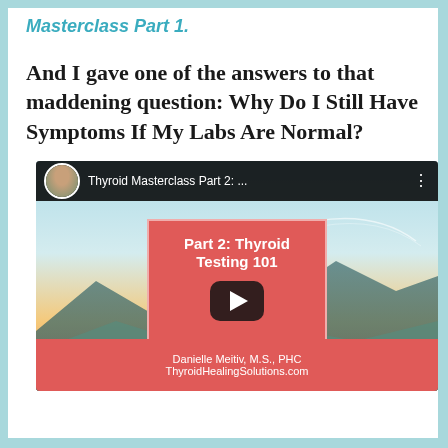Masterclass Part 1.
And I gave one of the answers to that maddening question: Why Do I Still Have Symptoms If My Labs Are Normal?
[Figure (screenshot): YouTube video thumbnail for 'Thyroid Masterclass Part 2:...' featuring a play button overlay, a red card showing 'Part 2: Thyroid Testing 101', and footer text 'Danielle Meitiv, M.S., PHC' and 'ThyroidHealingSolutions.com']